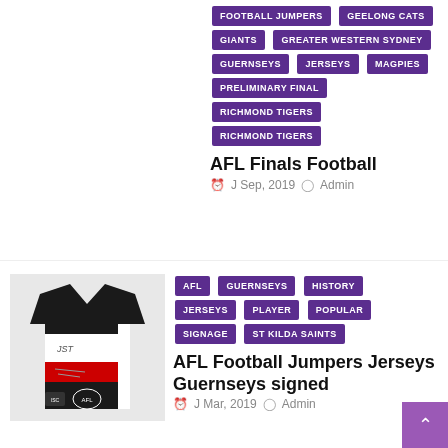FOOTBALL JUMPERS
GEELONG CATS
GIANTS
GREATER WESTERN SYDNEY
GUERNSEYS
JERSEYS
MAGPIES
PRELIMINARY FINAL
RICHMOND TIGERS
RICHMOND TIGERS
AFL Finals Football
J Sep, 2019   Admin
[Figure (photo): AFL football guernsey/jersey — St Kilda Saints black, red and white jersey displayed from the back, with signatures and sponsor logos visible]
AFL
GUERNSEYS
HISTORY
JERSEYS
PLAYER
POPULAR
SIGNAGE
ST KILDA SAINTS
AFL Football Jumpers Jerseys Guernseys signed
J Mar, 2019   Admin